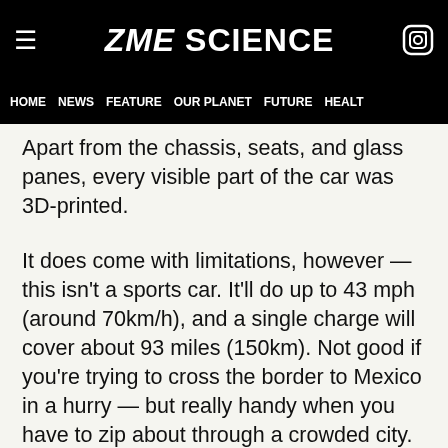ZME SCIENCE
HOME  NEWS  FEATURE  OUR PLANET  FUTURE  HEALT
Apart from the chassis, seats, and glass panes, every visible part of the car was 3D-printed.
It does come with limitations, however — this isn't a sports car. It'll do up to 43 mph (around 70km/h), and a single charge will cover about 93 miles (150km). Not good if you're trying to cross the border to Mexico in a hurry — but really handy when you have to zip about through a crowded city. The vehicle's relatively small dimensions also help in this regard.